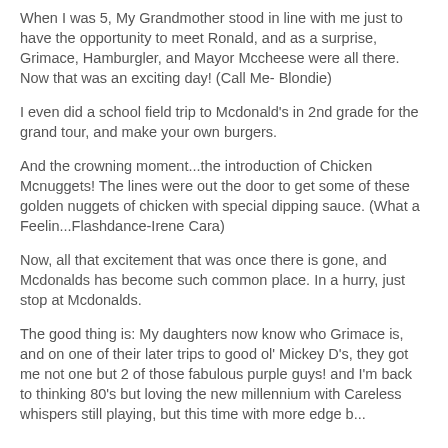When I was 5, My Grandmother stood in line with me just to have the opportunity to meet Ronald, and as a surprise, Grimace, Hamburgler, and Mayor Mccheese were all there. Now that was an exciting day! (Call Me- Blondie)
I even did a school field trip to Mcdonald's in 2nd grade for the grand tour, and make your own burgers.
And the crowning moment...the introduction of Chicken Mcnuggets! The lines were out the door to get some of these golden nuggets of chicken with special dipping sauce. (What a Feelin...Flashdance-Irene Cara)
Now, all that excitement that was once there is gone, and Mcdonalds has become such common place. In a hurry, just stop at Mcdonalds.
The good thing is: My daughters now know who Grimace is, and on one of their later trips to good ol' Mickey D's, they got me not one but 2 of those fabulous purple guys! and I'm back to thinking 80's but loving the new millennium with Careless whispers still playing, but this time with more edge b...